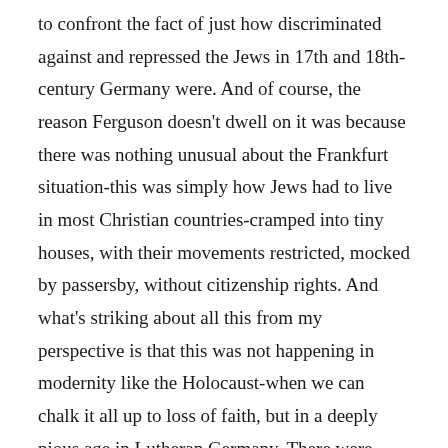to confront the fact of just how discriminated against and repressed the Jews in 17th and 18th-century Germany were. And of course, the reason Ferguson doesn't dwell on it was because there was nothing unusual about the Frankfurt situation-this was simply how Jews had to live in most Christian countries-cramped into tiny houses, with their movements restricted, mocked by passersby, without citizenship rights. And what's striking about all this from my perspective is that this was not happening in modernity like the Holocaust-when we can chalk it all up to loss of faith, but in a deeply pious age in Lutheran Germany. There were godly Christian ministers preaching faith and love from their pulpits, even while endorsing (or at the very least turning a blind eye to) the cruel repression of the Jews, and this went on for centuries.